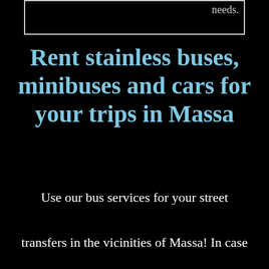needs.
Rent stainless buses, minibuses and cars for your trips in Massa
Use our bus services for your street transfers in the vicinities of Massa! In case you order city tours, rural excursions, excursions from one city to the other, or a considerably longer bus itinerary, we can